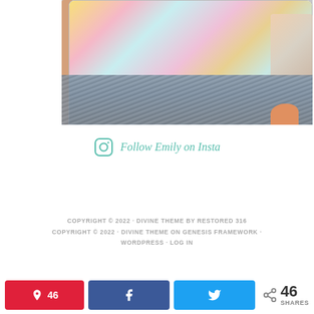[Figure (photo): Close-up photo of a hand holding a decorative card/sticker with colorful rainbow and floral designs — yellow, pink, teal, blue elements on white. Bottom portion shows denim fabric background.]
Follow Emily on Insta
COPYRIGHT © 2022 · DIVINE THEME BY RESTORED 316
COPYRIGHT © 2022 · DIVINE THEME ON GENESIS FRAMEWORK · WORDPRESS · LOG IN
46 | Share | Tweet | 46 SHARES